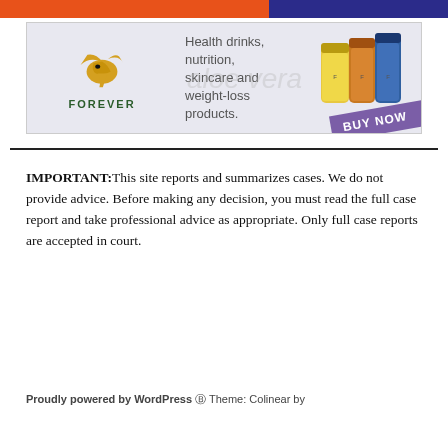[Figure (illustration): Top colored banner strip orange and dark blue]
[Figure (illustration): Forever Living Products advertisement banner with eagle logo, health drinks nutrition skincare and weight-loss products text, aloe vera bottles image, and purple BUY NOW ribbon]
IMPORTANT:This site reports and summarizes cases. We do not provide advice. Before making any decision, you must read the full case report and take professional advice as appropriate. Only full case reports are accepted in court.
[Figure (illustration): Teal chat box saying 'Want to ask a Solicitor online now? I can connect you ...' with a circular avatar photo of a woman on the right]
Proudly powered by WordPress Theme: Colinear by